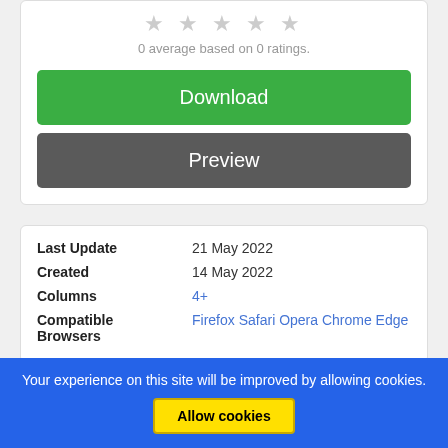[Figure (other): Five grey star rating icons]
0 average based on 0 ratings.
Download
Preview
| Field | Value |
| --- | --- |
| Last Update | 21 May 2022 |
| Created | 14 May 2022 |
| Columns | 4+ |
| Compatible Browsers | Firefox Safari Opera Chrome Edge |
Your experience on this site will be improved by allowing cookies.
Allow cookies